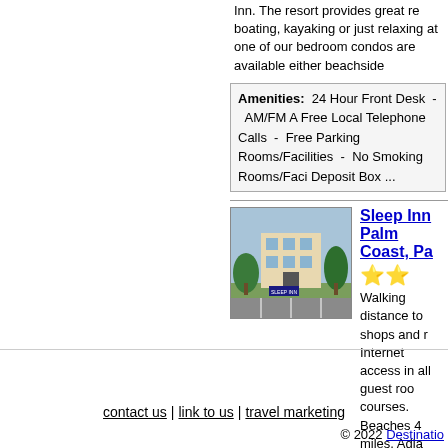Inn. The resort provides great re boating, kayaking or just relaxing at one of our bedroom condos are available either beachside
Amenities: 24 Hour Front Desk - AM/FM A Free Local Telephone Calls - Free Parking Rooms/Facilities - No Smoking Rooms/Faci Deposit Box ...
Sleep Inn Palm Coast, Pa
Walking distance to shops and r Internet access in all guest roo courses. Beaches 4 miles. Adja Daytona Speedway 28 miles.
Amenities: AM/FM Alarm Clock - Bus Par Maker in Room - Continental Breakfast - FEMA Approved - Free Local Telephone Ca
Displaying 9 of 9 results
contact us | link to us | travel marketing
© 2022 Destinatio